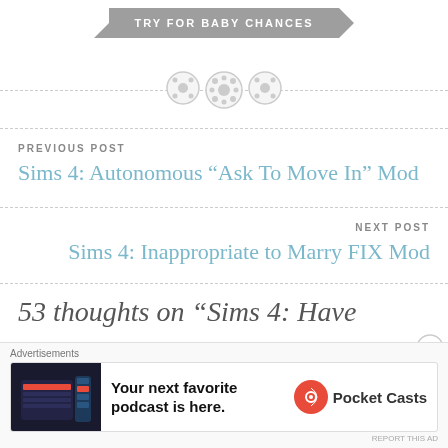[Figure (other): Gray arrow banner with text TRY FOR BABY CHANCES]
[Figure (other): Three decorative button/circle icons with a dashed horizontal divider line]
PREVIOUS POST
Sims 4: Autonomous “Ask To Move In” Mod
NEXT POST
Sims 4: Inappropriate to Marry FIX Mod
53 thoughts on “Sims 4: Have
Advertisements
Your next favorite podcast is here.
Pocket Casts